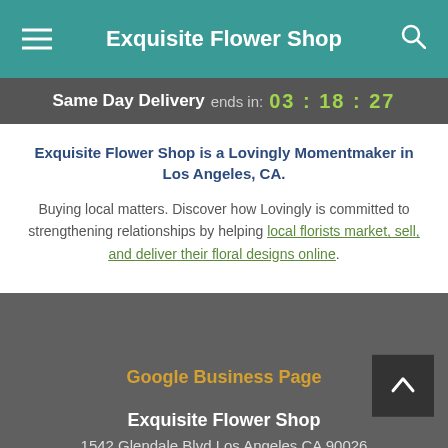Exquisite Flower Shop
Same Day Delivery ends in: 03 : 18 : 27
Exquisite Flower Shop is a Lovingly Momentmaker in Los Angeles, CA.
Buying local matters. Discover how Lovingly is committed to strengthening relationships by helping local florists market, sell, and deliver their floral designs online.
Google Business Page
Exquisite Flower Shop
1542 Glendale Blvd Los Angeles CA 90026
+1 (213) 484-4171